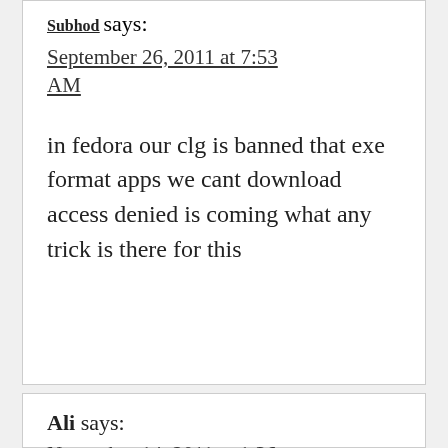Subhod says:
September 26, 2011 at 7:53 AM
in fedora our clg is banned that exe format apps we cant download access denied is coming what any trick is there for this
Ali says:
November 14, 2011 at 1:36 PM